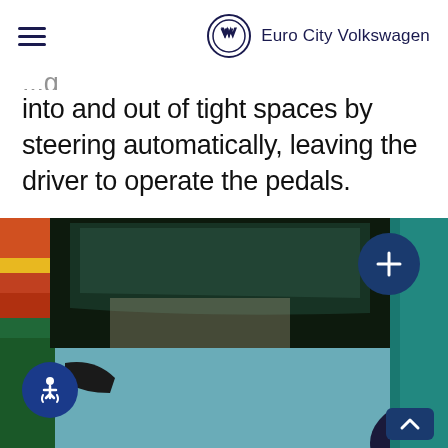Euro City Volkswagen
into and out of tight spaces by steering automatically, leaving the driver to operate the pedals.
[Figure (photo): An elderly man with white hair and round glasses, wearing a dark navy sweater, holding a bagel/donut, exiting or standing next to a Volkswagen vehicle. The car door is open. Colorful background visible. Blue plus button in upper right and accessibility icon in lower left.]